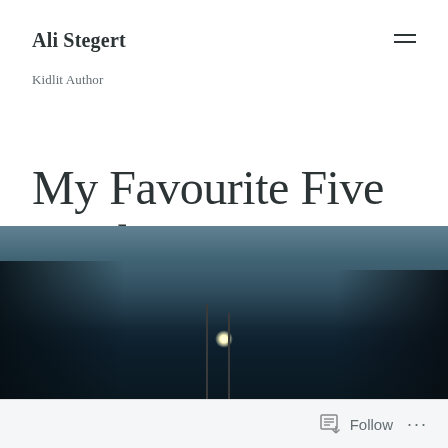Ali Stegert
Kidlit Author
My Favourite Five Reads – 2016
[Figure (photo): Dark moody outdoor nighttime photo showing street lamps or poles against a cloudy sky, with dark foreground silhouettes]
Follow ...